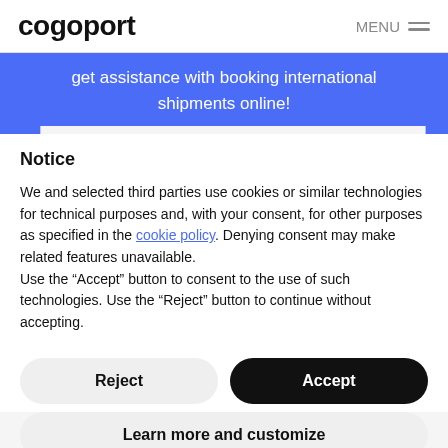cogoport  MENU
get assistance with booking international shipments online!
Notice
We and selected third parties use cookies or similar technologies for technical purposes and, with your consent, for other purposes as specified in the cookie policy. Denying consent may make related features unavailable.
Use the “Accept” button to consent to the use of such technologies. Use the “Reject” button to continue without accepting.
Reject
Accept
Learn more and customize